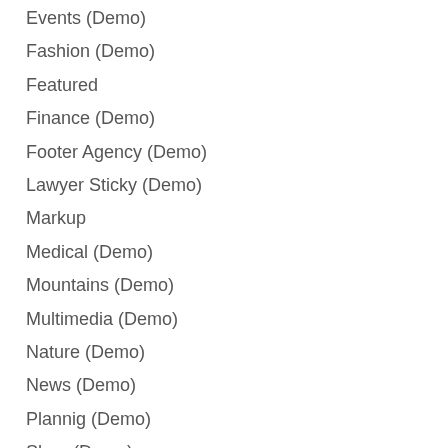Events (Demo)
Fashion (Demo)
Featured
Finance (Demo)
Footer Agency (Demo)
Lawyer Sticky (Demo)
Markup
Medical (Demo)
Mountains (Demo)
Multimedia (Demo)
Nature (Demo)
News (Demo)
Plannig (Demo)
Shop (Demo)
Splash Creative Light (Demo)